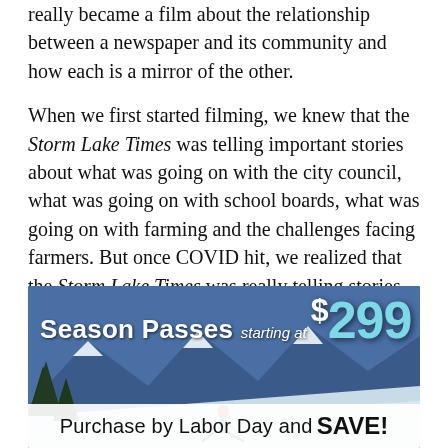really became a film about the relationship between a newspaper and its community and how each is a mirror of the other.
When we first started filming, we knew that the Storm Lake Times was telling important stories about what was going on with the city council, what was going on with school boards, what was going on with farming and the challenges facing farmers. But once COVID hit, we realized that the Storm Lake Times was really telling stories that were life and death. That the Storm Lake Times was informing its community about COVID and its rate of spread and how it was being transmitted and whether Tyson Foods was reporting [its cases] or not.
[Figure (other): Advertisement banner for season passes starting at $299. Features a skier on a snowy mountain slope. Text reads: 'Season Passes starting at $299' and 'Purchase by Labor Day and SAVE!']